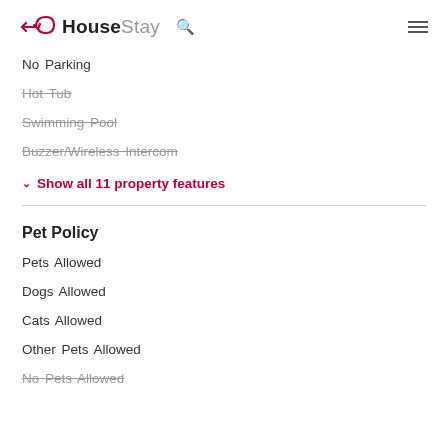HouseStay
No Parking
Hot Tub
Swimming Pool
Buzzer/Wireless Intercom
Show all 11 property features
Pet Policy
Pets Allowed
Dogs Allowed
Cats Allowed
Other Pets Allowed
No Pets Allowed